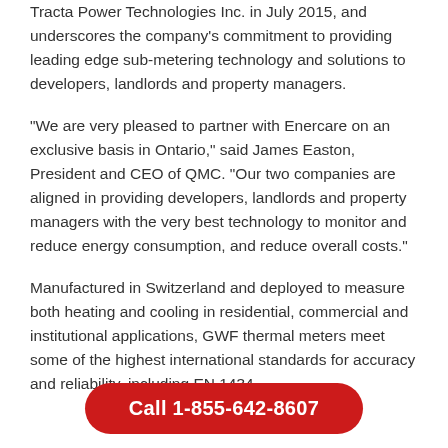Tracta Power Technologies Inc. in July 2015, and underscores the company's commitment to providing leading edge sub-metering technology and solutions to developers, landlords and property managers.
"We are very pleased to partner with Enercare on an exclusive basis in Ontario," said James Easton, President and CEO of QMC. "Our two companies are aligned in providing developers, landlords and property managers with the very best technology to monitor and reduce energy consumption, and reduce overall costs."
Manufactured in Switzerland and deployed to measure both heating and cooling in residential, commercial and institutional applications, GWF thermal meters meet some of the highest international standards for accuracy and reliability, including EN 1434.
Call 1-855-642-8607